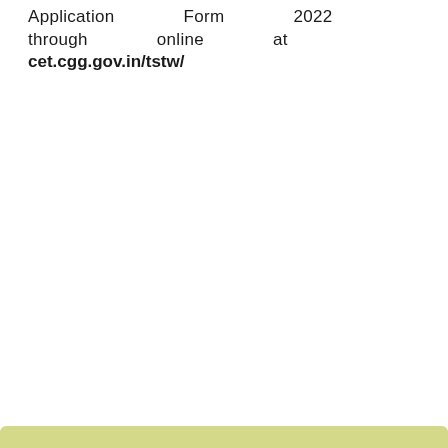Application Form 2022 through online at cet.cgg.gov.in/tstw/